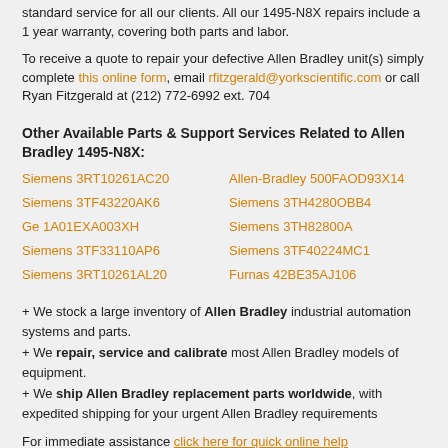standard service for all our clients. All our 1495-N8X repairs include a 1 year warranty, covering both parts and labor.
To receive a quote to repair your defective Allen Bradley unit(s) simply complete this online form, email rfitzgerald@yorkscientific.com or call Ryan Fitzgerald at (212) 772-6992 ext. 704
Other Available Parts & Support Services Related to Allen Bradley 1495-N8X:
Siemens 3RT10261AC20
Allen-Bradley 500FAOD93X14
Siemens 3TF43220AK6
Siemens 3TH4280OBB4
Ge 1A01EXA003XH
Siemens 3TH82800A
Siemens 3TF33110AP6
Siemens 3TF40224MC1
Siemens 3RT10261AL20
Furnas 42BE35AJ106
+ We stock a large inventory of Allen Bradley industrial automation systems and parts.
+ We repair, service and calibrate most Allen Bradley models of equipment.
+ We ship Allen Bradley replacement parts worldwide, with expedited shipping for your urgent Allen Bradley requirements
For immediate assistance click here for quick online help or contact our Automation & Controls team: